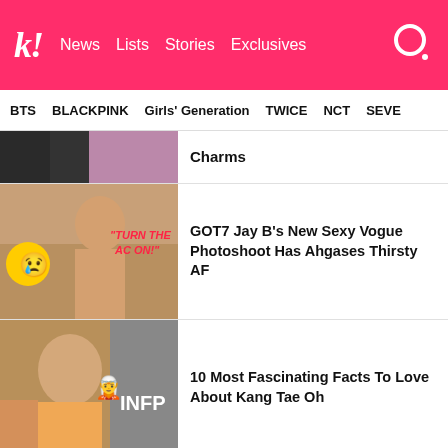k! News | Lists | Stories | Exclusives
BTS | BLACKPINK | Girls' Generation | TWICE | NCT | SEVE...
Charms
GOT7 Jay B's New Sexy Vogue Photoshoot Has Ahgases Thirsty AF
10 Most Fascinating Facts To Love About Kang Tae Oh
BTS's RM And Megan Thee Stallion Wore The Same Fit But Served Totally Different Vibes